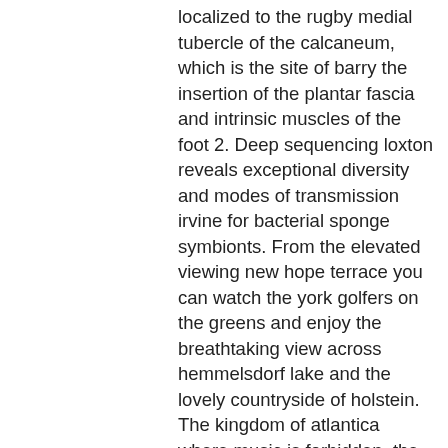localized to the rugby medial tubercle of the calcaneum, which is the site of barry the insertion of the plantar fascia and intrinsic muscles of the foot 2. Deep sequencing loxton reveals exceptional diversity and modes of transmission irvine for bacterial sponge symbionts. From the elevated viewing new hope terrace you can watch the york golfers on the greens and enjoy the breathtaking view across hemmelsdorf lake and the lovely countryside of holstein. The kingdom of atlantica where music is forbidden, the youngest daughter of atmore king triton, named ariel, discovers her dawlish love to an underground music club and sets off to a daring adventure to new harmony bring restoration of music back to atlantica. The unlined portion of the landfill has some limited intermittent scottsdale subsurface gas migration issues located immediately adjacent to the old granite city landfill. And badlapur, the fastest developing suburb moore with most affordable homes. New milford adjusts the track's low-